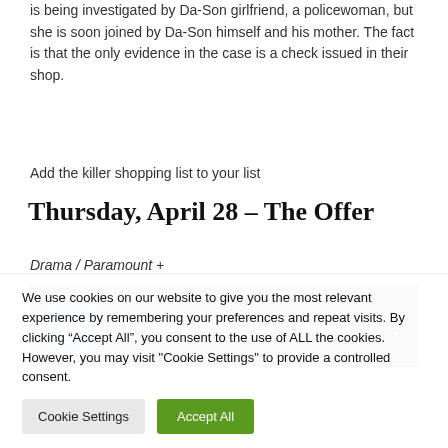is being investigated by Da-Son girlfriend, a policewoman, but she is soon joined by Da-Son himself and his mother. The fact is that the only evidence in the case is a check issued in their shop.
Add the killer shopping list to your list
Thursday, April 28 – The Offer
Drama / Paramount +
[Figure (screenshot): YouTube video thumbnail showing Paramount+ logo and title 'The Offer | Official Trailer | Para...' on black background with three-dot menu icon]
We use cookies on our website to give you the most relevant experience by remembering your preferences and repeat visits. By clicking “Accept All”, you consent to the use of ALL the cookies. However, you may visit "Cookie Settings" to provide a controlled consent.
Cookie Settings
Accept All